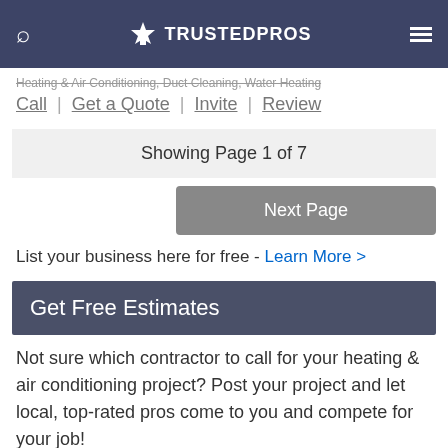TRUSTEDPROS
Heating & Air Conditioning, Duct Cleaning, Water Heating
Call | Get a Quote | Invite | Review
Showing Page 1 of 7
Next Page
List your business here for free - Learn More >
Get Free Estimates
Not sure which contractor to call for your heating & air conditioning project? Post your project and let local, top-rated pros come to you and compete for your job!